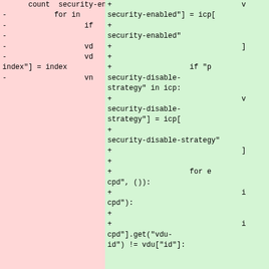[Figure (screenshot): A code diff view split into two panes. Left pane (pink/red background) shows removed lines (prefixed with -). Right pane (green background) shows added lines (prefixed with +). The code relates to ICP security-enabled and security-disable-strategy logic.]